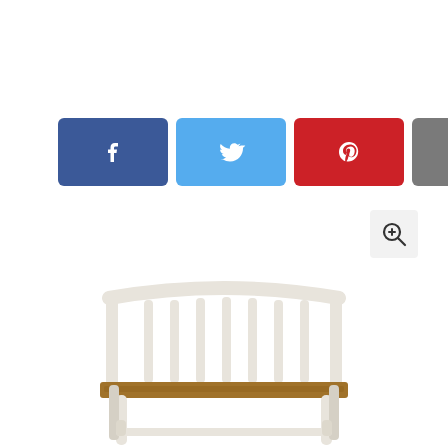[Figure (infographic): Row of six social share buttons: Facebook (blue), Twitter (light blue), Pinterest (red), Email (gray), SMS (yellow/orange), Share (green)]
[Figure (other): Magnifying glass zoom-in button icon in a light gray rounded square]
[Figure (photo): White wooden bench with a brown wooden seat, spindle back, shown from the front on a white background]